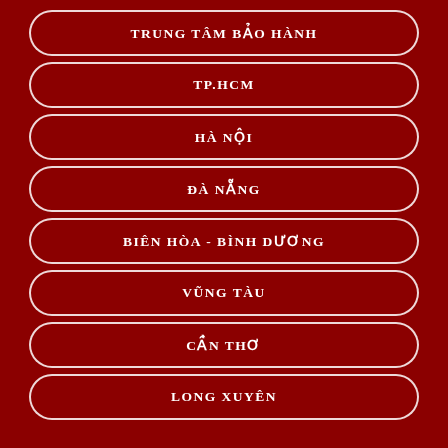TRUNG TÂM BẢO HÀNH
TP.HCM
HÀ NỘI
ĐÀ NẴNG
BIÊN HÒA - BÌNH DƯƠNG
VŨNG TÀU
CẦN THƠ
LONG XUYÊN